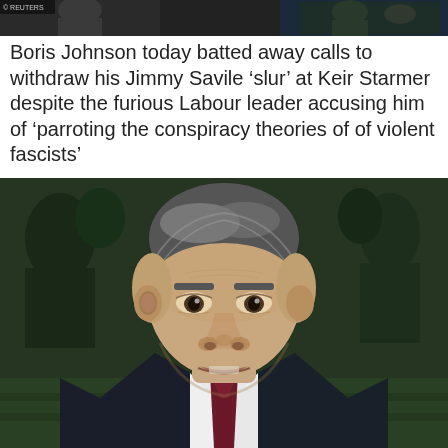[Figure (photo): Top image strip showing a news broadcast scene with two people, blurred background, dark tones. Reuters watermark visible.]
Boris Johnson today batted away calls to withdraw his Jimmy Savile ‘slur’ at Keir Starmer despite the furious Labour leader accusing him of ‘parroting the conspiracy theories of of violent fascists’
[Figure (photo): Close-up photo of Keir Starmer speaking in the House of Commons chamber, wearing a dark suit and dark red tie, grey hair, green benches visible behind him.]